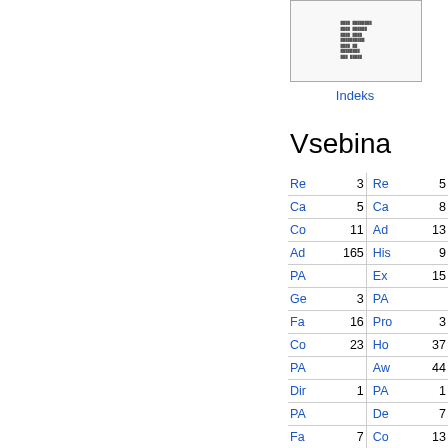[Figure (other): Thumbnail image of a document page showing text content]
Indeks
Vsebina
| Name | Num | Name | Num |
| --- | --- | --- | --- |
| Re | 3 | Re | 5 |
| Ca | 5 | Ca | 8 |
| Co | 11 | Ad | 13 |
| Ad | 165 | His | 9 |
| PA |  | Ex | 15 |
| Ge | 3 | PA |  |
| Fa | 16 | Pro | 3 |
| Co | 23 | Ho | 37 |
| PA |  | Aw | 44 |
| Dir | 1 | PA | 1 |
| PA |  | De | 7 |
| Fa | 7 | Co | 13 |